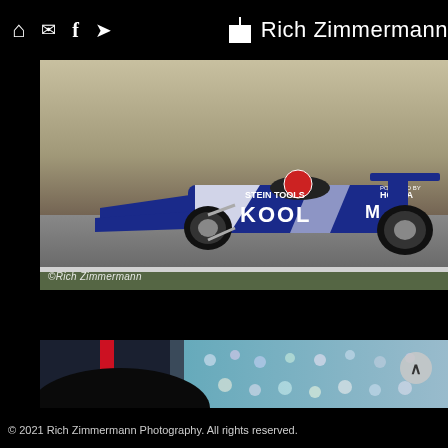Rich Zimmermann
[Figure (photo): Blue IndyCar race car with KOOL and Honda sponsorship livery racing on track, with driver visible. Watermark: © Rich Zimmermann]
[Figure (photo): Partial view of another racing-related photograph, showing blurred pit lane or grandstand scene]
© 2021 Rich Zimmermann Photography. All rights reserved.